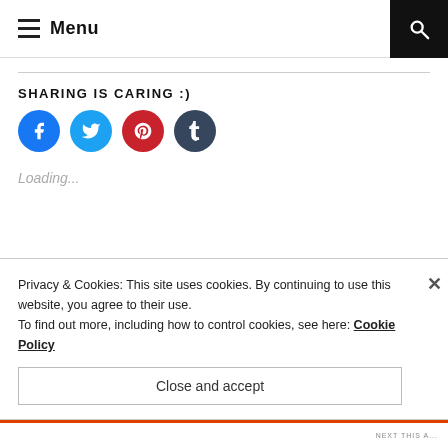Menu
SHARING IS CARING :)
[Figure (infographic): Four social sharing buttons: Facebook (blue circle with f icon), Twitter (light blue circle with bird icon), Pinterest (red circle with P icon), Tumblr (dark blue circle with t icon)]
Loading...
Privacy & Cookies: This site uses cookies. By continuing to use this website, you agree to their use.
To find out more, including how to control cookies, see here: Cookie Policy
Close and accept